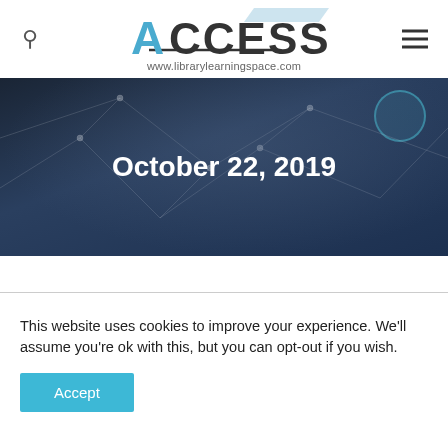ACCESS www.librarylearningspace.com
[Figure (photo): Hero banner with dark blue overlay showing a hand pointing at a digital network interface with city background. Large white text reads 'October 22, 2019'.]
October 22, 2019
This website uses cookies to improve your experience. We'll assume you're ok with this, but you can opt-out if you wish.
Accept